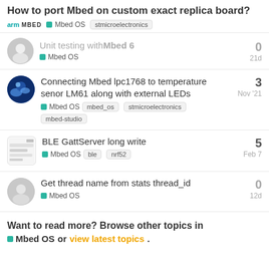How to port Mbed on custom exact replica board?
Unit testing with Mbed 6 — Mbed OS — 21d
Connecting Mbed lpc1768 to temperature senor LM61 along with external LEDs
Mbed OS  mbed_os  stmicroelectronics  mbed-studio  Nov '21  3
BLE GattServer long write
Mbed OS  ble  nrf52  Feb 7  5
Get thread name from stats thread_id
Mbed OS  12d  0
Want to read more? Browse other topics in Mbed OS or view latest topics.